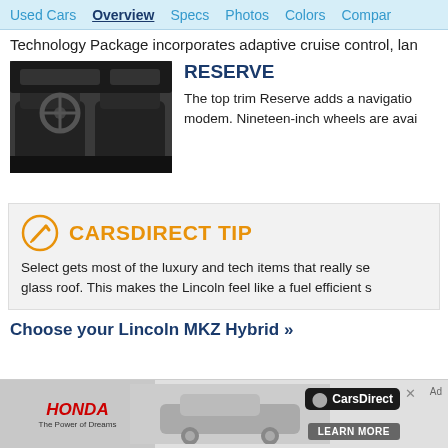Used Cars   Overview   Specs   Photos   Colors   Compare
Technology Package incorporates adaptive cruise control, lan
RESERVE
[Figure (photo): Car interior showing dark leather seats and dashboard of a Lincoln MKZ]
The top trim Reserve adds a navigation modem. Nineteen-inch wheels are avai
CARSDIRECT TIP
Select gets most of the luxury and tech items that really se glass roof. This makes the Lincoln feel like a fuel efficient s
Choose your Lincoln MKZ Hybrid »
[Figure (photo): Honda advertisement banner with CarsDirect branding showing a Honda SUV and Learn More button]